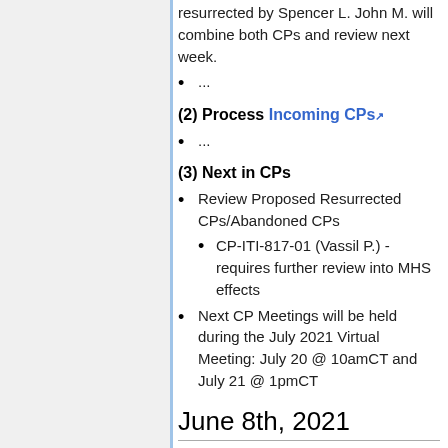resurrected by Spencer L. John M. will combine both CPs and review next week.
...
(2) Process Incoming CPs
...
(3) Next in CPs
Review Proposed Resurrected CPs/Abandoned CPs
CP-ITI-817-01 (Vassil P.) - requires further review into MHS effects
Next CP Meetings will be held during the July 2021 Virtual Meeting: July 20 @ 10amCT and July 21 @ 1pmCT
June 8th, 2021
Attendees: Oliver Egger, Dave Pyke,